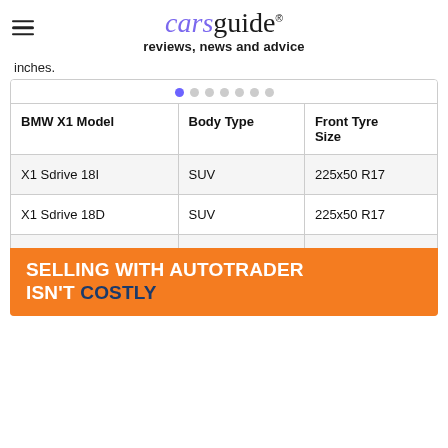carsguide reviews, news and advice
inches.
| BMW X1 Model | Body Type | Front Tyre Size |
| --- | --- | --- |
| X1 Sdrive 18I | SUV | 225x50 R17 |
| X1 Sdrive 18D | SUV | 225x50 R17 |
| X1 Sdrive 20I | SUV | 225x50 R17 |
| X1 Sd... | ... | ...45 R18 |
[Figure (infographic): Orange advertisement banner reading 'SELLING WITH AUTOTRADER ISN'T COSTLY']